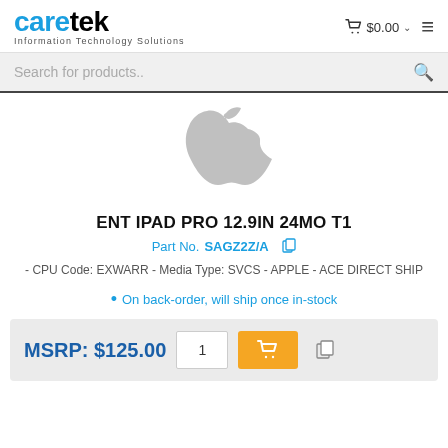caretek - Information Technology Solutions | Cart $0.00
Search for products..
[Figure (logo): Apple logo in gray, placeholder product image]
ENT IPAD PRO 12.9IN 24MO T1
Part No. SAGZ2Z/A
- CPU Code: EXWARR - Media Type: SVCS - APPLE - ACE DIRECT SHIP
On back-order, will ship once in-stock
MSRP: $125.00